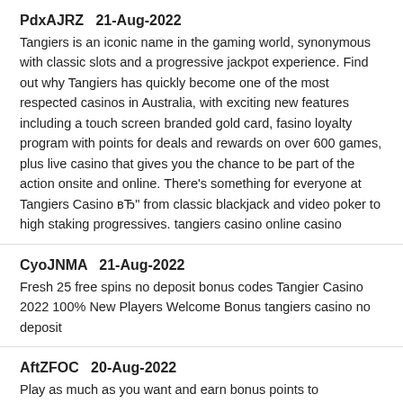PdxAJRZ   21-Aug-2022
Tangiers is an iconic name in the gaming world, synonymous with classic slots and a progressive jackpot experience. Find out why Tangiers has quickly become one of the most respected casinos in Australia, with exciting new features including a touch screen branded gold card, fasino loyalty program with points for deals and rewards on over 600 games, plus live casino that gives you the chance to be part of the action onsite and online. There's something for everyone at Tangiers Casino вЂ" from classic blackjack and video poker to high staking progressives. tangiers casino online casino
CyoJNMA   21-Aug-2022
Fresh 25 free spins no deposit bonus codes Tangier Casino 2022 100% New Players Welcome Bonus tangiers casino no deposit
AftZFOC   20-Aug-2022
Play as much as you want and earn bonus points to redeem for Tangiers Casino...